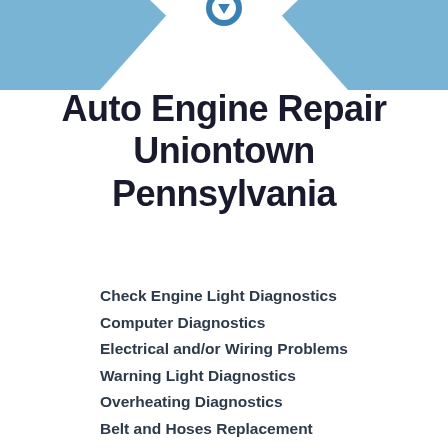[Figure (illustration): Blue chevron/arrow decorative header graphic with a partial circular logo icon at the top center]
Auto Engine Repair Uniontown Pennsylvania
Check Engine Light Diagnostics
Computer Diagnostics
Electrical and/or Wiring Problems
Warning Light Diagnostics
Overheating Diagnostics
Belt and Hoses Replacement
Fuel Injection Repair
Timing Belt and Water Pump Replacement